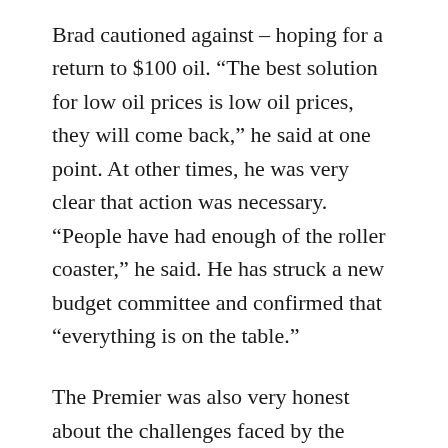Brad cautioned against – hoping for a return to $100 oil. “The best solution for low oil prices is low oil prices, they will come back,” he said at one point. At other times, he was very clear that action was necessary. “People have had enough of the roller coaster,” he said. He has struck a new budget committee and confirmed that “everything is on the table.”
The Premier was also very honest about the challenges faced by the Province. “We have not done a good job with our public finances,” he said. “We have been living beyond our means.” He said that needs to change, and that “we are living on resource revenue that properly belongs to our children and our grandchildren.” He said the amount we spend in Alberta on health care “is not sustainable” and added that “we’re going to have to